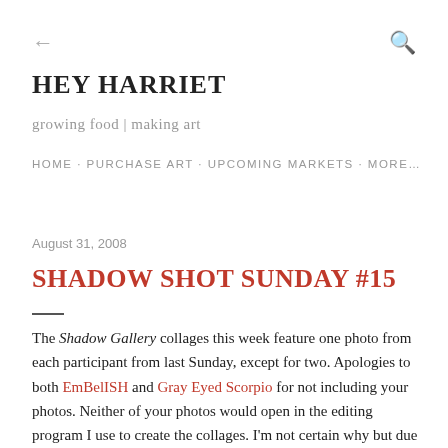← (back) | 🔍 (search)
HEY HARRIET
growing food | making art
HOME · PURCHASE ART · UPCOMING MARKETS · MORE…
August 31, 2008
SHADOW SHOT SUNDAY #15
The Shadow Gallery collages this week feature one photo from each participant from last Sunday, except for two. Apologies to both EmBelISH and Gray Eyed Scorpio for not including your photos. Neither of your photos would open in the editing program I use to create the collages. I'm not certain why but due to both images being smaller than the rest of the shadow shots I'm guesing it's